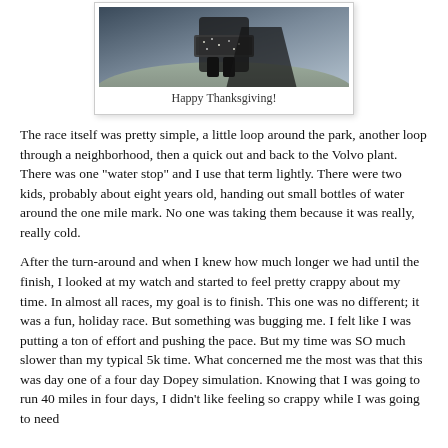[Figure (photo): Partial photo of a person wearing a sparkly/sequined dark outfit, appearing to be at a race event. Displayed as a polaroid-style card.]
Happy Thanksgiving!
The race itself was pretty simple, a little loop around the park, another loop through a neighborhood, then a quick out and back to the Volvo plant. There was one "water stop" and I use that term lightly. There were two kids, probably about eight years old, handing out small bottles of water around the one mile mark. No one was taking them because it was really, really cold.
After the turn-around and when I knew how much longer we had until the finish, I looked at my watch and started to feel pretty crappy about my time. In almost all races, my goal is to finish. This one was no different; it was a fun, holiday race. But something was bugging me. I felt like I was putting a ton of effort and pushing the pace. But my time was SO much slower than my typical 5k time. What concerned me the most was that this was day one of a four day Dopey simulation. Knowing that I was going to run 40 miles in four days, I didn't like feeling so crappy while I was going to need